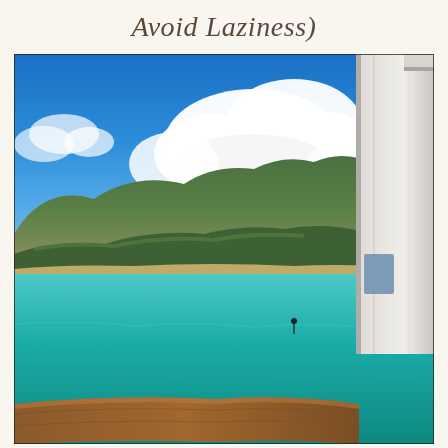Avoid Laziness)
[Figure (photo): View from a cruise ship balcony showing turquoise Caribbean sea, a tropical island with green hills and a sandy beach, blue sky with large white clouds, and part of the ship's white structure and wooden railing in the foreground right.]